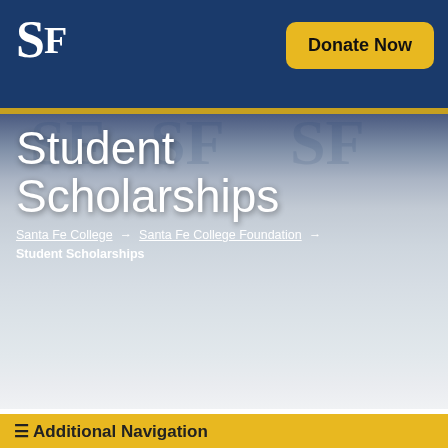SF | Donate Now
Student Scholarships
Santa Fe College → Santa Fe College Foundation → Student Scholarships
Additional Navigation